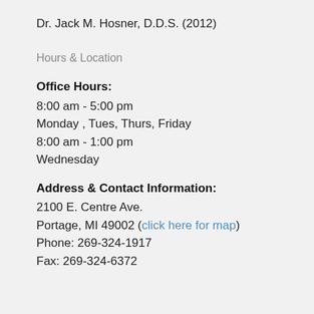Dr. Jack M. Hosner, D.D.S. (2012)
Hours & Location
Office Hours:
8:00 am - 5:00 pm
Monday , Tues, Thurs, Friday
8:00 am - 1:00 pm
Wednesday
Address & Contact Information:
2100 E. Centre Ave.
Portage, MI 49002 (click here for map)
Phone: 269-324-1917
Fax: 269-324-6372